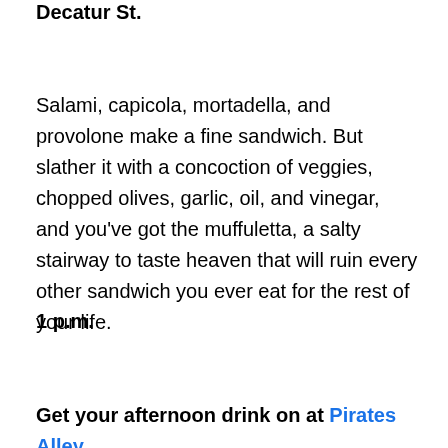Decatur St.
Salami, capicola, mortadella, and provolone make a fine sandwich. But slather it with a concoction of veggies, chopped olives, garlic, oil, and vinegar, and you've got the muffuletta, a salty stairway to taste heaven that will ruin every other sandwich you ever eat for the rest of your life.
1 p.m.
Get your afternoon drink on at Pirates Alley